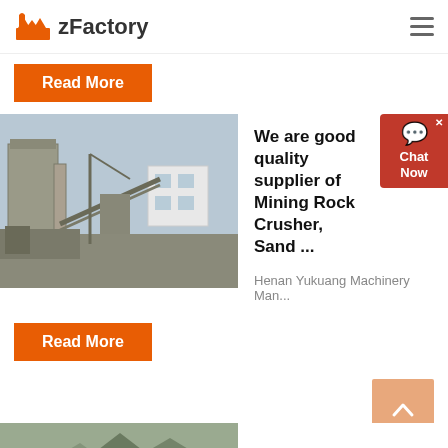zFactory
Read More
[Figure (photo): Industrial mining/crushing facility with large machinery, silos and conveyor structures outdoors]
We are good quality supplier of Mining Rock Crusher, Sand ...
Henan Yukuang Machinery Man...
Read More
Stone Crushing